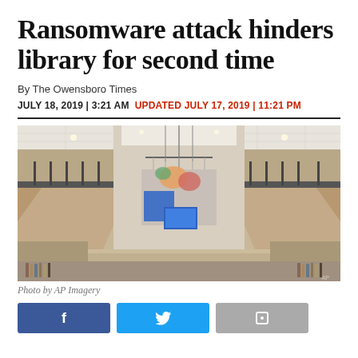Ransomware attack hinders library for second time
By The Owensboro Times
JULY 18, 2019 | 3:21 AM  UPDATED JULY 17, 2019 | 11:21 PM
[Figure (photo): Interior of a modern public library building showing a two-story atrium with balconies, a decorative chandelier, and colorful artwork panels visible in the center.]
Photo by AP Imagery